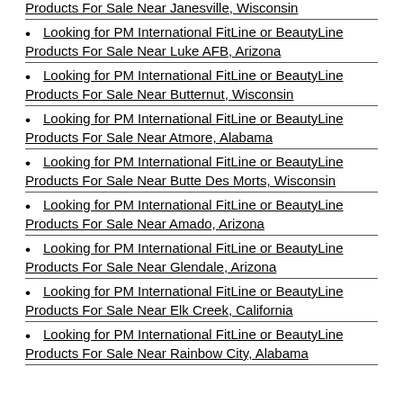Looking for PM International FitLine or BeautyLine Products For Sale Near Janesville, Wisconsin
Looking for PM International FitLine or BeautyLine Products For Sale Near Luke AFB, Arizona
Looking for PM International FitLine or BeautyLine Products For Sale Near Butternut, Wisconsin
Looking for PM International FitLine or BeautyLine Products For Sale Near Atmore, Alabama
Looking for PM International FitLine or BeautyLine Products For Sale Near Butte Des Morts, Wisconsin
Looking for PM International FitLine or BeautyLine Products For Sale Near Amado, Arizona
Looking for PM International FitLine or BeautyLine Products For Sale Near Glendale, Arizona
Looking for PM International FitLine or BeautyLine Products For Sale Near Elk Creek, California
Looking for PM International FitLine or BeautyLine Products For Sale Near Rainbow City, Alabama